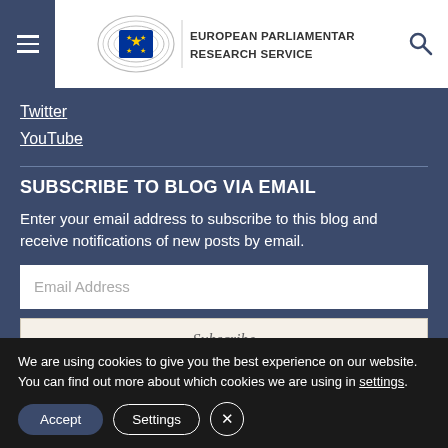European Parliamentary Research Service
Twitter
YouTube
SUBSCRIBE TO BLOG VIA EMAIL
Enter your email address to subscribe to this blog and receive notifications of new posts by email.
Email Address
Subscribe
We are using cookies to give you the best experience on our website.
You can find out more about which cookies we are using in settings.